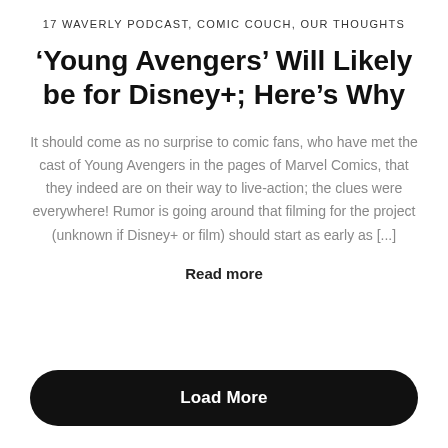17 WAVERLY PODCAST, COMIC COUCH, OUR THOUGHTS
'Young Avengers' Will Likely be for Disney+; Here's Why
It should come as no surprise to comic fans, who have met the cast of Young Avengers in the pages of Marvel Comics, that they indeed are on their way to live-action; the clues were everywhere! Rumor is going around that filming for the project (unknown if Disney+ or film) should start as early as [...]
Read more
Load More